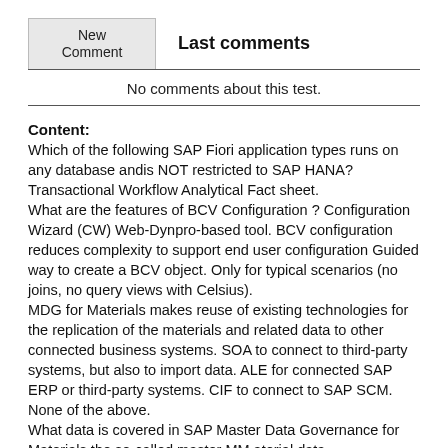New Comment	Last comments
No comments about this test.
Content: Which of the following SAP Fiori application types runs on any database andis NOT restricted to SAP HANA? Transactional Workflow Analytical Fact sheet. What are the features of BCV Configuration ? Configuration Wizard (CW) Web-Dynpro-based tool. BCV configuration reduces complexity to support end user configuration Guided way to create a BCV object. Only for typical scenarios (no joins, no query views with Celsius). MDG for Materials makes reuse of existing technologies for the replication of the materials and related data to other connected business systems. SOA to connect to third-party systems, but also to import data. ALE for connected SAP ERP or third-party systems. CIF to connect to SAP SCM. None of the above. What data is covered in SAP Master Data Governance for Materials the so-called master MM.aterial data...